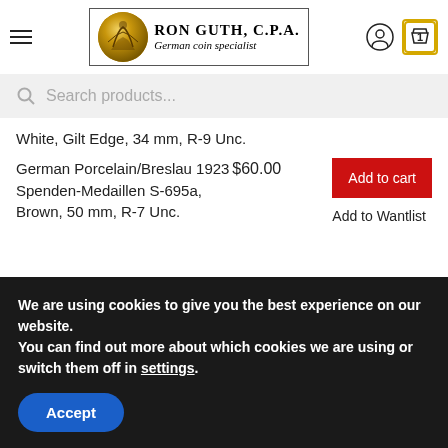RON GUTH, C.P.A. German coin specialist
White, Gilt Edge, 34 mm, R-9 Unc.
German Porcelain/Breslau 1923 Spenden-Medaillen S-695a, Brown, 50 mm, R-7 Unc.
$60.00
Add to cart
Add to Wantlist
We are using cookies to give you the best experience on our website.
You can find out more about which cookies we are using or switch them off in settings.
Accept